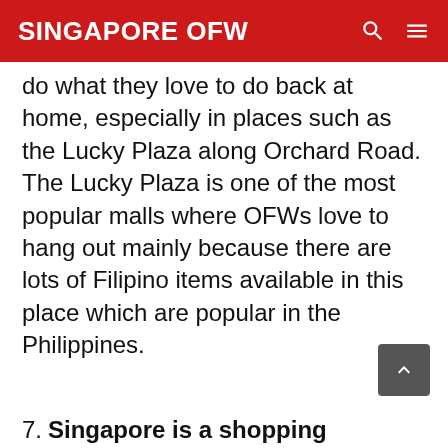SINGAPORE OFW
do what they love to do back at home, especially in places such as the Lucky Plaza along Orchard Road. The Lucky Plaza is one of the most popular malls where OFWs love to hang out mainly because there are lots of Filipino items available in this place which are popular in the Philippines.
7. Singapore is a shopping